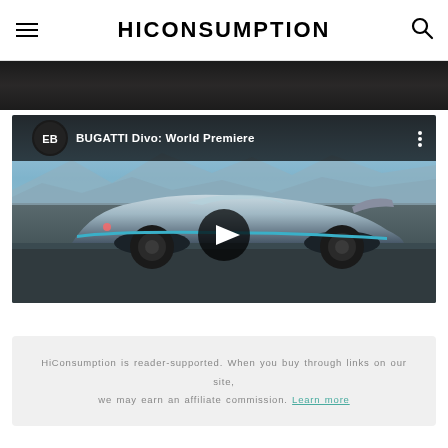HICONSUMPTION
[Figure (screenshot): Dark cropped image strip at top, appears to be bottom of a car/vehicle photo]
[Figure (screenshot): YouTube video embed thumbnail showing BUGATTI Divo: World Premiere — silver/blue Bugatti Divo supercar on a dark road with mountains in background, with play button overlay and video title bar showing Bugatti logo]
HiConsumption is reader-supported. When you buy through links on our site, we may earn an affiliate commission. Learn more